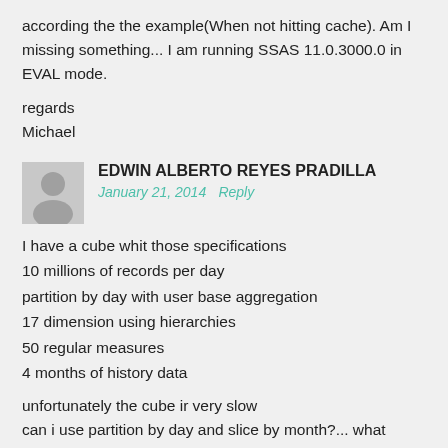according the the example(When not hitting cache). Am I missing something... I am running SSAS 11.0.3000.0 in EVAL mode.
regards
Michael
EDWIN ALBERTO REYES PRADILLA
January 21, 2014   Reply
I have a cube whit those specifications
10 millions of records per day
partition by day with user base aggregation
17 dimension using hierarchies
50 regular measures
4 months of history data
unfortunately the cube ir very slow
can i use partition by day and slice by month?... what happen if i'll do that